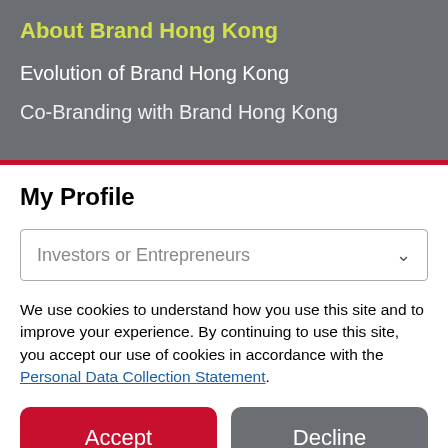About Brand Hong Kong
Evolution of Brand Hong Kong
Co-Branding with Brand Hong Kong
My Profile
Investors or Entrepreneurs
We use cookies to understand how you use this site and to improve your experience. By continuing to use this site, you accept our use of cookies in accordance with the Personal Data Collection Statement.
Accept
Decline